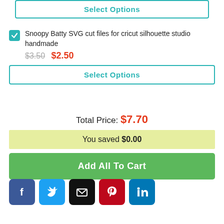Select Options
Snoopy Batty SVG cut files for cricut silhouette studio handmade
$3.50  $2.50
Select Options
Total Price: $7.70
You saved $0.00
Add All To Cart
[Figure (infographic): Social sharing icons: Facebook (blue), Twitter (blue), Email (black), Pinterest (red), LinkedIn (blue)]